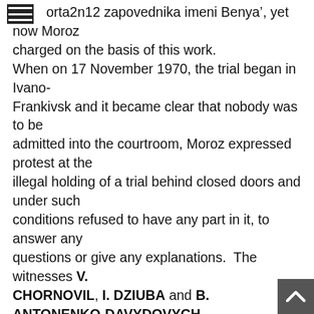orta2n12 zapovednika imeni Benya', yet now Moroz charged on the basis of this work. When on 17 November 1970, the trial began in Ivano-Frankivsk and it became clear that nobody was to be admitted into the courtroom, Moroz expressed protest at the illegal holding of a trial behind closed doors and under such conditions refused to have any part in it, to answer any questions or give any explanations.  The witnesses V. CHORNOVIL, I. DZIUBA and B. ANTONENKO-DAVYDOVYCH also refused to give testimony in an illegal trial, stating that they would have been able to give important evidence since their testimony during the pre-trial investigation had been misrepresented. Moroz's close friends were not allowed to be present even at the reading out of the sentence.  He was sentenced to a 6 year prison term, followed by 3 years special regime labour camp and 5 years exile, with Moroz being declared a particularly dangerous repeat offender. The Ukrainian intelligentsia was vehement in its condemnation of the unlawfulness and ferocity of the court, with over 40 protests being addressed to the Supreme C of the UkrSSR, while in the USA and Canada there were